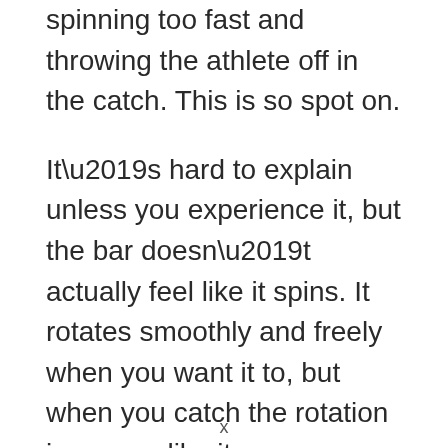spinning too fast and throwing the athlete off in the catch. This is so spot on.
It’s hard to explain unless you experience it, but the bar doesn’t actually feel like it spins. It rotates smoothly and freely when you want it to, but when you catch the rotation is gone – like it never happened.
The difference became even more noticeable to me when I started splitting time training at the school and at home. In our weight room at Georgia Tech we have
x